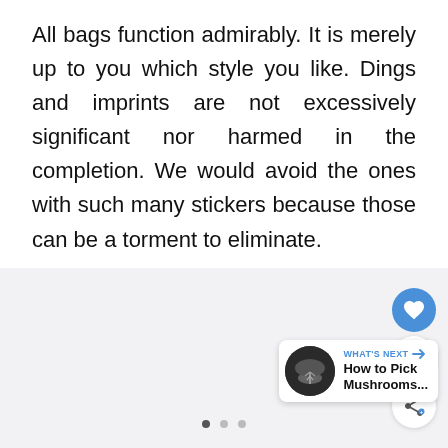All bags function admirably. It is merely up to you which style you like. Dings and imprints are not excessively significant nor harmed in the completion. We would avoid the ones with such many stickers because those can be a torment to eliminate.
[Figure (screenshot): A UI overlay panel with a heart (like) button in blue, a count of 1, and a share button, plus a 'What's Next' card showing a mushroom thumbnail and the text 'How to Pick Mushrooms...' with navigation dots below.]